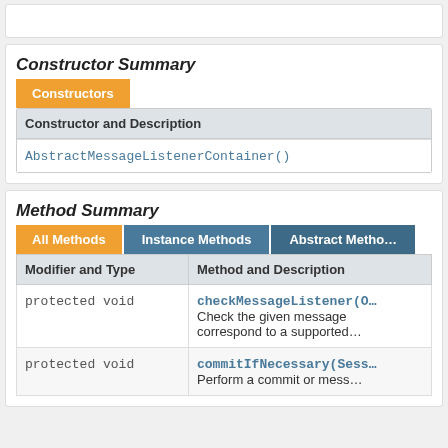Constructor Summary
| Constructor and Description |
| --- |
| AbstractMessageListenerContainer() |
Method Summary
| Modifier and Type | Method and Description |
| --- | --- |
| protected void | checkMessageListener(O…
Check the given message … correspond to a supported… |
| protected void | commitIfNecessary(Sess…
Perform a commit or mess… |